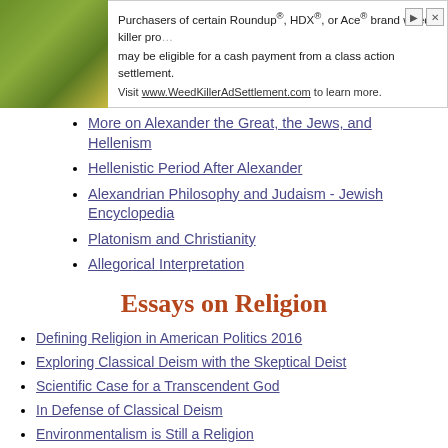[Figure (screenshot): Advertisement banner for Roundup/HDX/Ace brand weed killer class action settlement. Text: 'Purchasers of certain Roundup®, HDX®, or Ace® brand weed killer products may be eligible for a cash payment from a class action settlement. Visit www.WeedKillerAdSettlement.com to learn more.' With a nature/plant image on left and close/info icons on right.]
More on Alexander the Great, the Jews, and Hellenism
Hellenistic Period After Alexander
Alexandrian Philosophy and Judaism - Jewish Encyclopedia
Platonism and Christianity
Allegorical Interpretation
Essays on Religion
Defining Religion in American Politics 2016
Exploring Classical Deism with the Skeptical Deist
Scientific Case for a Transcendent God
In Defense of Classical Deism
Environmentalism is Still a Religion
Babylonian Captivity and the Birth of Modern Judaism
An Overview of Manichaeism
Zoroastrians Keep Dwindling